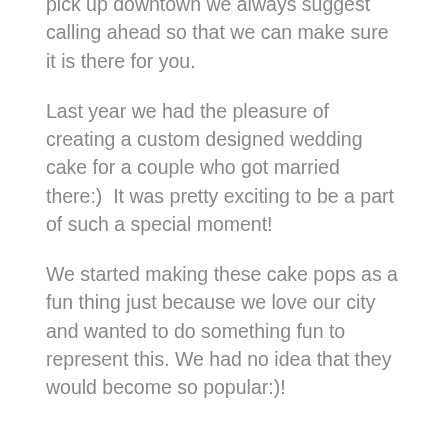pick up downtown we always suggest calling ahead so that we can make sure it is there for you.
Last year we had the pleasure of creating a custom designed wedding cake for a couple who got married there:)  It was pretty exciting to be a part of such a special moment!
We started making these cake pops as a fun thing just because we love our city and wanted to do something fun to represent this. We had no idea that they would become so popular:)!